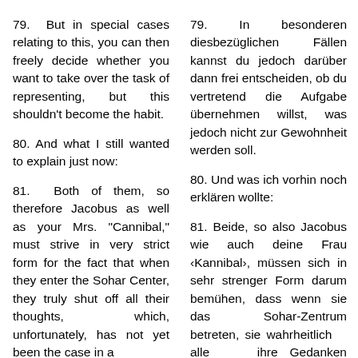79. But in special cases relating to this, you can then freely decide whether you want to take over the task of representing, but this shouldn't become the habit.
79. In besonderen diesbezüglichen Fällen kannst du jedoch darüber dann frei entscheiden, ob du vertretend die Aufgabe übernehmen willst, was jedoch nicht zur Gewohnheit werden soll.
80. And what I still wanted to explain just now:
80. Und was ich vorhin noch erklären wollte:
81. Both of them, so therefore Jacobus as well as your Mrs. "Cannibal," must strive in very strict form for the fact that when they enter the Sohar Center, they truly shut off all their thoughts, which, unfortunately, has not yet been the case in a
81. Beide, so also Jacobus wie auch deine Frau ‹Kannibal›, müssen sich in sehr strenger Form darum bemühen, dass wenn sie das Sohar-Zentrum betreten, sie wahrheitlich alle ihre Gedanken ausschalten, was leider bisher noch nicht in befriedigender Form der Fall